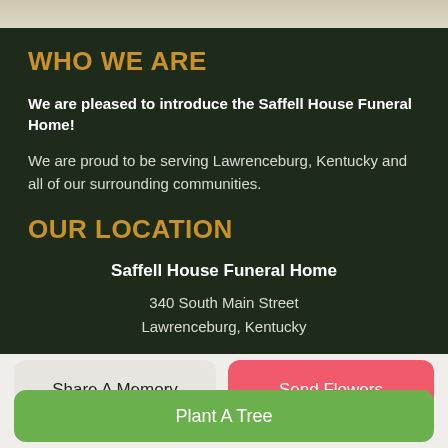WHO WE ARE
We are pleased to introduce the Saffell House Funeral Home!
We are proud to be serving Lawrenceburg, Kentucky and all of our surrounding communities.
OUR LOCATION
Saffell House Funeral Home
340 South Main Street
Lawrenceburg, Kentucky
Share A Memory
Send Flowers
Plant A Tree